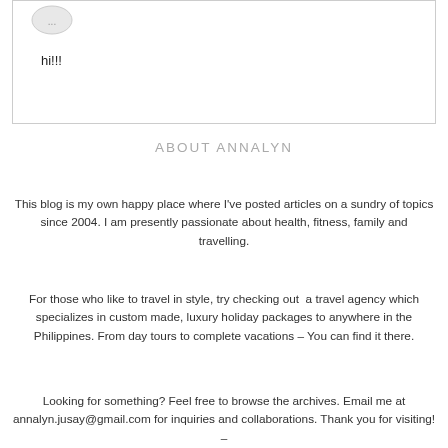[Figure (illustration): Circular avatar/profile image placeholder at top left of comment box]
hi!!!
ABOUT ANNALYN
This blog is my own happy place where I've posted articles on a sundry of topics since 2004. I am presently passionate about health, fitness, family and travelling.
For those who like to travel in style, try checking out  a travel agency which specializes in custom made, luxury holiday packages to anywhere in the Philippines. From day tours to complete vacations – You can find it there.
Looking for something? Feel free to browse the archives. Email me at annalyn.jusay@gmail.com for inquiries and collaborations. Thank you for visiting! –